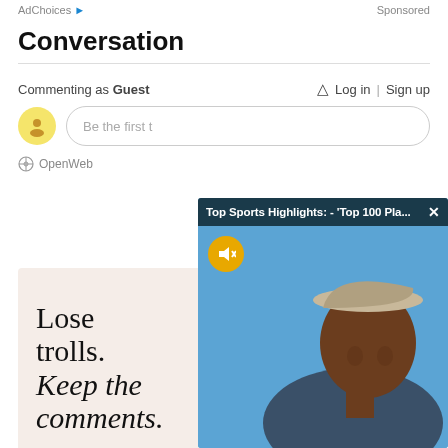AdChoices | Sponsored
Conversation
Commenting as Guest
Log in | Sign up
Be the first t…
OpenWeb
[Figure (screenshot): Video overlay popup with title 'Top Sports Highlights: - Top 100 Pla...' showing a man wearing a cap against a blue background, with a mute button and close (X) button]
Lose trolls. Keep the comments.